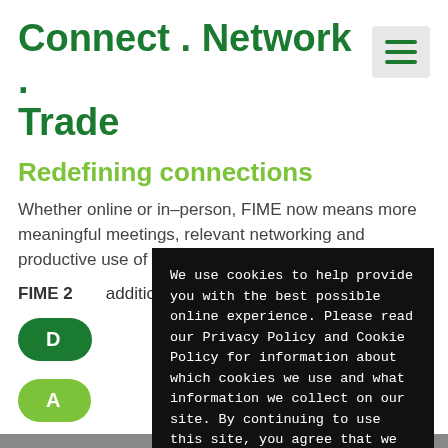Connect . Network . Trade
Redefining connections
Whether online or in-person, FIME now means more meaningful meetings, relevant networking and productive use of your time.
FIME 2... additional...
[Figure (screenshot): Cookie consent overlay dialog with black background containing text about cookie policy and an 'I AGREE' button]
We use cookies to help provide you with the best possible online experience. Please read our Privacy Policy and Cookie Policy for information about which cookies we use and what information we collect on our site. By continuing to use this site, you agree that we may store and access cookies on your device.